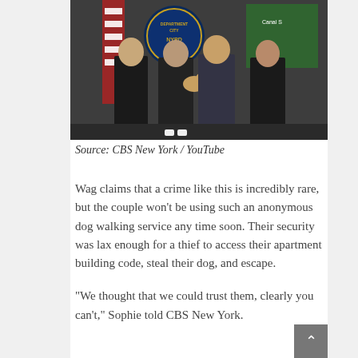[Figure (photo): Four people posing in front of an NYPD Department sign and American flag. Two people in the middle, one holding a small dog, flanked by two police officers in uniform.]
Source: CBS New York / YouTube
Wag claims that a crime like this is incredibly rare, but the couple won't be using such an anonymous dog walking service any time soon. Their security was lax enough for a thief to access their apartment building code, steal their dog, and escape.
“We thought that we could trust them, clearly you can't,” Sophie told CBS New York.